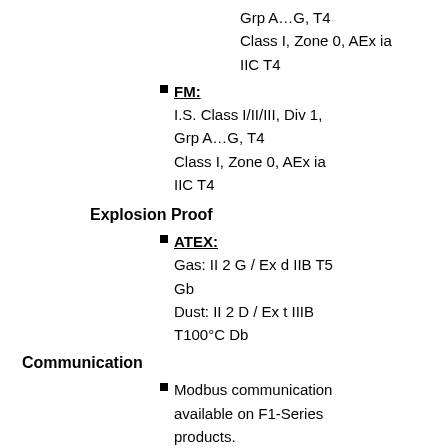Grp A…G, T4
Class I, Zone 0, AEx ia IIC T4
FM:
I.S. Class I/II/III, Div 1, Grp A…G, T4
Class I, Zone 0, AEx ia IIC T4
Explosion Proof
ATEX:
Gas: II 2 G / Ex d IIB T5 Gb
Dust: II 2 D / Ex t IIIB T100°C Db
Communication
Modbus communication available on F1-Series products.